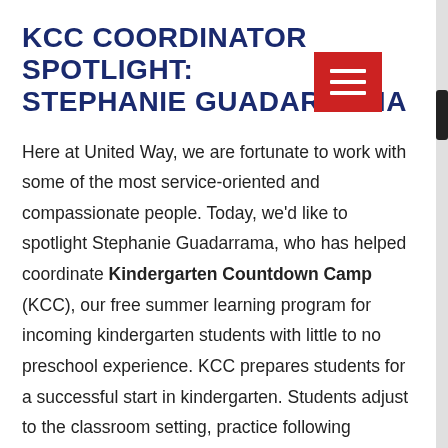KCC COORDINATOR SPOTLIGHT: STEPHANIE GUADARRAMA
Here at United Way, we are fortunate to work with some of the most service-oriented and compassionate people. Today, we'd like to spotlight Stephanie Guadarrama, who has helped coordinate Kindergarten Countdown Camp (KCC), our free summer learning program for incoming kindergarten students with little to no preschool experience. KCC prepares students for a successful start in kindergarten. Students adjust to the classroom setting, practice following directions and rules, and practice key kindergarten skills such as recognizing shapes, letters,